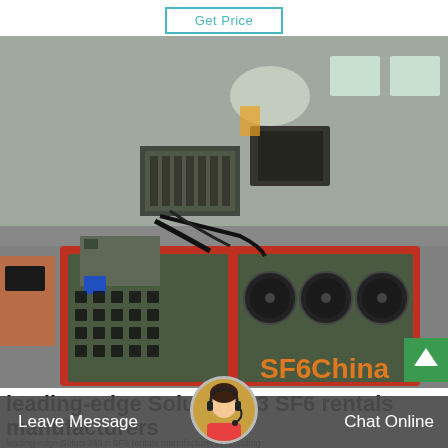[Figure (other): Button labeled Get Price with teal/cyan border]
[Figure (photo): Industrial SF6 gas equipment machine with red and dark green metal casing, cooling fans, wiring, in a factory/warehouse setting. SF6China watermark in orange text at bottom right.]
leading-edge Soluci 243 SF6 rentals manufacturers
leading-edge Soluci 243 n SF6 rentals manufacturers A Leading
[Figure (photo): Avatar/customer service representative icon — woman with headset in circular frame]
Leave Message
Chat Online